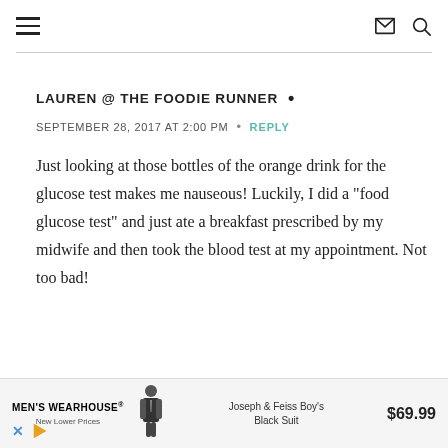Navigation bar with hamburger menu, email icon, and search icon
LAUREN @ THE FOODIE RUNNER •
SEPTEMBER 28, 2017 AT 2:00 PM  •  REPLY
Just looking at those bottles of the orange drink for the glucose test makes me nauseous! Luckily, I did a "food glucose test" and just ate a breakfast prescribed by my midwife and then took the blood test at my appointment. Not too bad!
[Figure (infographic): Men's Wearhouse advertisement showing Joseph & Feiss Boy's Black Suit for $69.99]